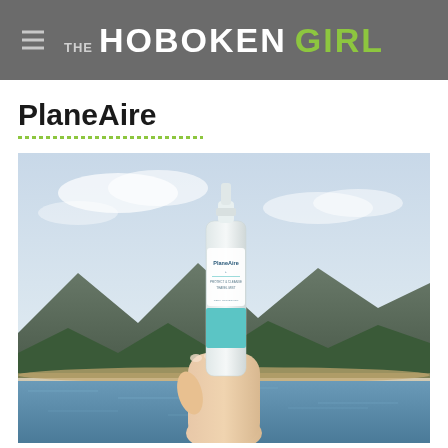THE HOBOKEN GIRL
PlaneAire
[Figure (photo): A hand holding a white PlaneAire spray bottle product against an outdoor background featuring a lake, mountains, and trees under a partly cloudy sky.]